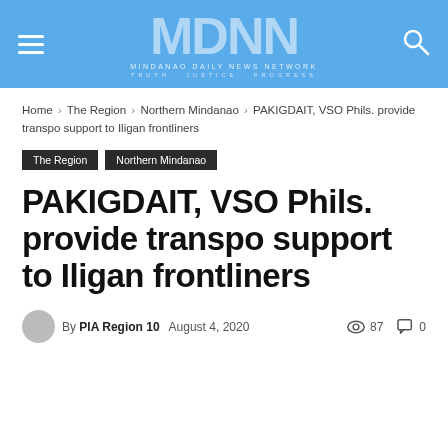MDNN - Mindanao Daily News Network
Home › The Region › Northern Mindanao › PAKIGDAIT, VSO Phils. provide transpo support to Iligan frontliners
The Region   Northern Mindanao
PAKIGDAIT, VSO Phils. provide transpo support to Iligan frontliners
By PIA Region 10   August 4, 2020   87 views   0 comments